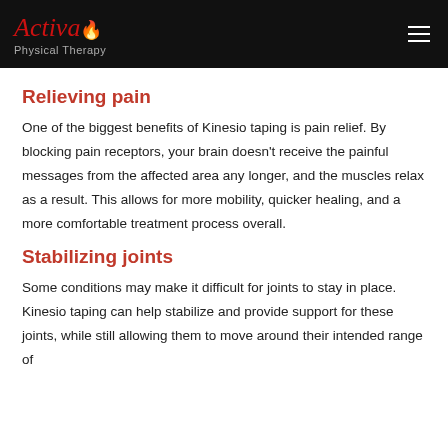Activa Physical Therapy
Relieving pain
One of the biggest benefits of Kinesio taping is pain relief. By blocking pain receptors, your brain doesn't receive the painful messages from the affected area any longer, and the muscles relax as a result. This allows for more mobility, quicker healing, and a more comfortable treatment process overall.
Stabilizing joints
Some conditions may make it difficult for joints to stay in place. Kinesio taping can help stabilize and provide support for these joints, while still allowing them to move around their intended range of